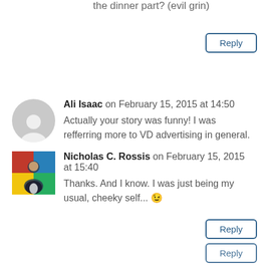the dinner part? (evil grin)
Reply
Ali Isaac on February 15, 2015 at 14:50
Actually your story was funny! I was refferring more to VD advertising in general.
Reply
Nicholas C. Rossis on February 15, 2015 at 15:40
Thanks. And I know. I was just being my usual, cheeky self... 😉
Reply